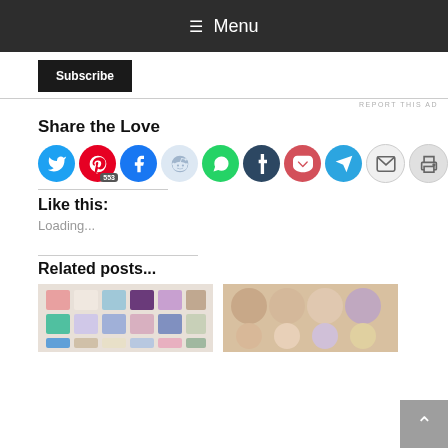≡ Menu
Subscribe
REPORT THIS AD
Share the Love
[Figure (infographic): Row of social sharing icon buttons: Twitter (blue), Pinterest (red, 553 badge), Facebook (blue), Reddit (light blue), WhatsApp (green), Tumblr (dark navy), Pocket (red), Telegram (blue), Email (grey), Print (grey)]
Like this:
Loading...
Related posts...
[Figure (photo): Colorful eyeshadow palette with pastel and jewel-toned shades]
[Figure (photo): Highlighter/blush palette with circular pans in warm peachy tones]